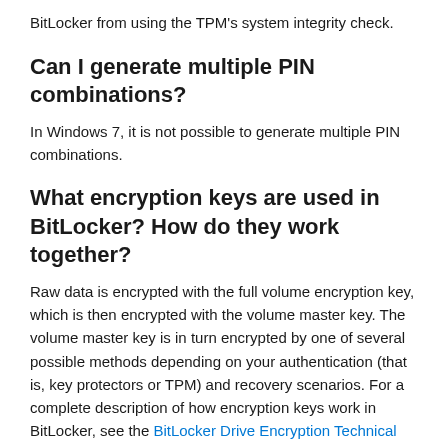BitLocker from using the TPM's system integrity check.
Can I generate multiple PIN combinations?
In Windows 7, it is not possible to generate multiple PIN combinations.
What encryption keys are used in BitLocker? How do they work together?
Raw data is encrypted with the full volume encryption key, which is then encrypted with the volume master key. The volume master key is in turn encrypted by one of several possible methods depending on your authentication (that is, key protectors or TPM) and recovery scenarios. For a complete description of how encryption keys work in BitLocker, see the BitLocker Drive Encryption Technical Overview .